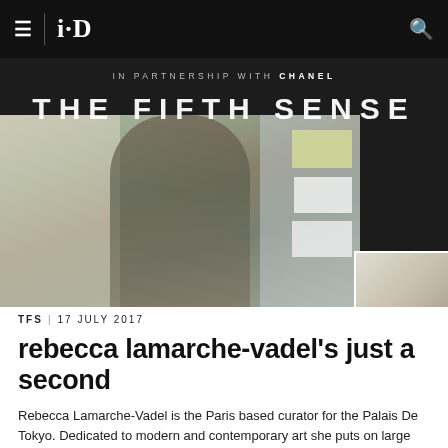i-D
IN PARTNERSHIP WITH CHANEL
THE FIFTH SENSE
[Figure (photo): Woman with dark bob haircut in profile view, wearing olive green cardigan over black top with white collar, standing in front of a wall covered with notes, papers and artwork. A smaller overlapping photo is visible in the bottom right.]
TFS | 17 JULY 2017
rebecca lamarche-vadel's just a second
Rebecca Lamarche-Vadel is the Paris based curator for the Palais De Tokyo. Dedicated to modern and contemporary art she puts on large scale exhibitions that span installation, dance, sculpture,